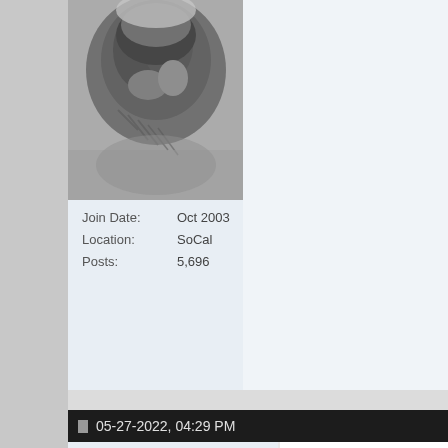[Figure (photo): Black and white photo of an animal (elephant or bear) looking down, close-up]
Join Date: Oct 2003
Location: SoCal
Posts: 5,696
05-27-2022, 04:29 PM
Ducatista47 (online indicator)
Senior Member
[Figure (photo): Book/album cover: THE END OF THE GAME by Peter Beard, showing a roaring leopard]
Majestic 10-12 Console Valv
Widget, how is this for audio bling... Deco style to this design makes thi... ever looked so good since?
[Figure (photo): Vintage wooden console radio/speaker cabinet in warm brown tones]